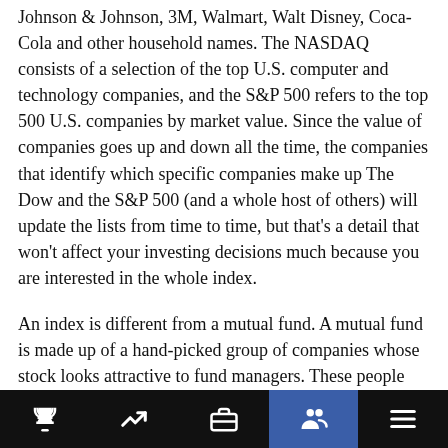Johnson & Johnson, 3M, Walmart, Walt Disney, Coca-Cola and other household names. The NASDAQ consists of a selection of the top U.S. computer and technology companies, and the S&P 500 refers to the top 500 U.S. companies by market value. Since the value of companies goes up and down all the time, the companies that identify which specific companies make up The Dow and the S&P 500 (and a whole host of others) will update the lists from time to time, but that's a detail that won't affect your investing decisions much because you are interested in the whole index.
An index is different from a mutual fund. A mutual fund is made up of a hand-picked group of companies whose stock looks attractive to fund managers. These people are paid accountants and investing experts who have studied a bunch of companies and have picked ones they believe are destined to grow in value. If the company grows in value, its stock becomes more valuable in turn, which means that investors who hold the company's stock make money. If you
nav bar with trophy, chart, briefcase, people, menu icons